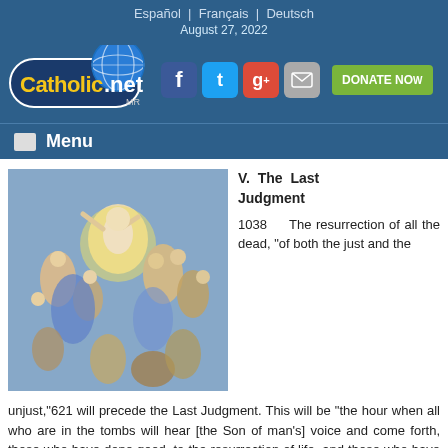Español  |  Français  |  Deutsch
August 27, 2022
[Figure (logo): Catholic.net logo with globe and yellow text, social media icons (Facebook, Twitter, Google+, Mail), and green DONATE NOW button]
Menu
[Figure (photo): Michelangelo's Last Judgment fresco showing Christ in the center surrounded by figures rising and falling]
V. The Last Judgment
1038     The resurrection of all the dead, "of both the just and the unjust,"621 will precede the Last Judgment. This will be "the hour when all who are in the tombs will hear [the Son of man's] voice and come forth, those who have done good, to the resurrection of life, and those who have done evil, to the resurrection of